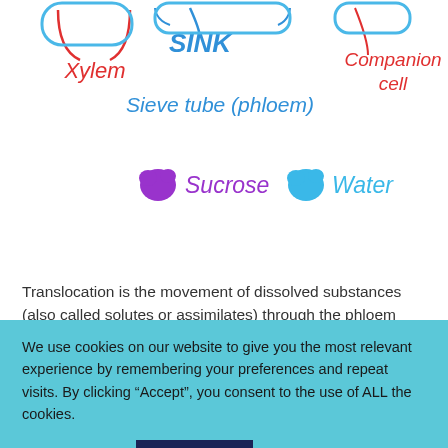[Figure (illustration): Educational diagram of plant transport system showing Xylem, Sink label, Sieve tube (phloem), Companion cell with red handwritten-style labels, and a legend showing purple blob for Sucrose and blue blob for Water]
Translocation is the movement of dissolved substances (also called solutes or assimilates) through the phloem vessels. If you haven't already, make sure to read about the structure of the phloem vessels first, as that...
We use cookies on our website to give you the most relevant experience by remembering your preferences and repeat visits. By clicking “Accept”, you consent to the use of ALL the cookies.
Cookie settings
ACCEPT